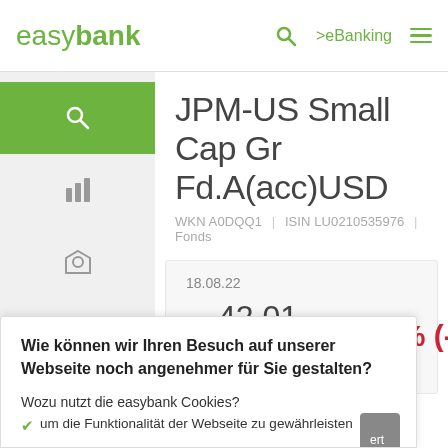easybank  🔍  >eBanking  ☰
JPM-US Small Cap Gr Fd.A(acc)USD
WKN A0DQQ1  |  ISIN LU0210535976  |  Fonds
18.08.22
▼ 42,01 USD   -0,40 % (-0,17...
Wie können wir Ihren Besuch auf unserer Webseite noch angenehmer für Sie gestalten?
Wozu nutzt die easybank Cookies?
✔ um die Funktionalität der Webseite zu gewährleisten